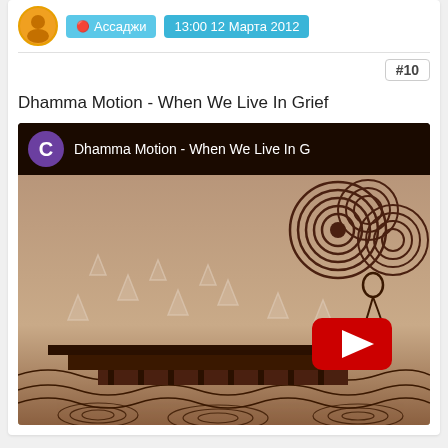Ассаджи  13:00 12 Марта 2012
#10
Dhamma Motion - When We Live In Grief
[Figure (screenshot): YouTube video thumbnail for 'Dhamma Motion - When We Live In G...' showing decorative Buddhist-inspired illustration with a figure on a boat, cloud patterns, arrow motifs, and a YouTube play button. Channel avatar shows letter C on purple background.]